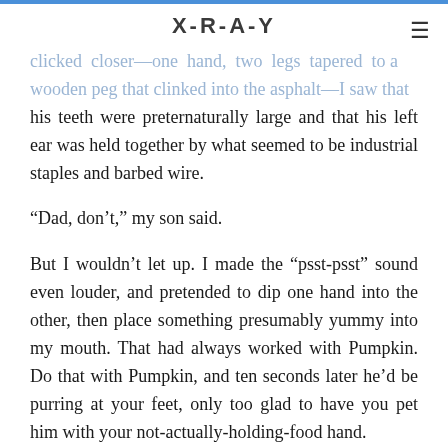X-R-A-Y
clicked closer—one hand, two legs tapered to a wooden peg that clinked into the asphalt—I saw that his teeth were preternaturally large and that his left ear was held together by what seemed to be industrial staples and barbed wire.
“Dad, don’t,” my son said.
But I wouldn’t let up. I made the “psst-psst” sound even louder, and pretended to dip one hand into the other, then place something presumably yummy into my mouth. That had always worked with Pumpkin. Do that with Pumpkin, and ten seconds later he’d be purring at your feet, only too glad to have you pet him with your not-actually-holding-food hand.
“Honey,” my wife said. “I think that might be a bad